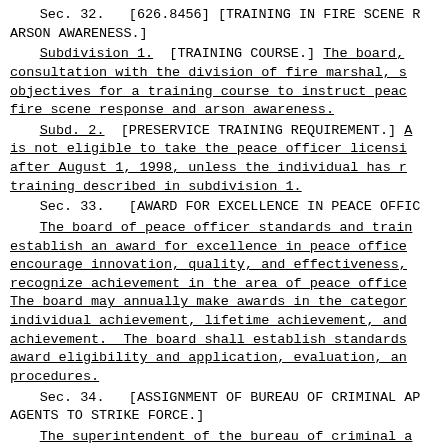Sec. 32.   [626.8456] [TRAINING IN FIRE SCENE R ARSON AWARENESS.]
Subdivision 1.   [TRAINING COURSE.] The board, consultation with the division of fire marshal, s objectives for a training course to instruct peac fire scene response and arson awareness.
Subd. 2.   [PRESERVICE TRAINING REQUIREMENT.] A is not eligible to take the peace officer licensi after August 1, 1998, unless the individual has r training described in subdivision 1.
Sec. 33.   [AWARD FOR EXCELLENCE IN PEACE OFFIC
The board of peace officer standards and train establish an award for excellence in peace office encourage innovation, quality, and effectiveness, recognize achievement in the area of peace office The board may annually make awards in the categor individual achievement, lifetime achievement, and achievement.  The board shall establish standards award eligibility and application, evaluation, an procedures.
Sec. 34.   [ASSIGNMENT OF BUREAU OF CRIMINAL AP AGENTS TO STRIKE FORCE.]
The superintendent of the bureau of criminal a shall assign experienced agents to the strike for Minnesota Statutes, section 299A.625.  These agen